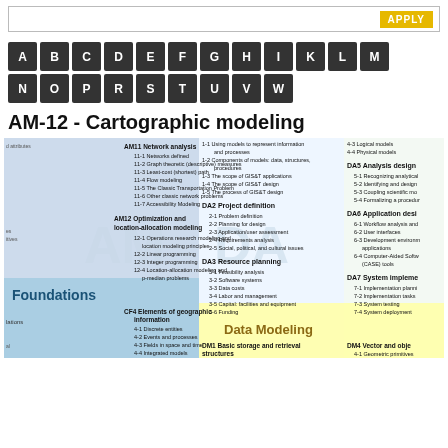[Figure (screenshot): Top search bar with APPLY button]
[Figure (infographic): Alphabetical navigation boxes A B C D E F G H I K L M / N O P R S T U V W in dark squares]
AM-12 - Cartographic modeling
[Figure (infographic): GIS Body of Knowledge topic map showing AM11 Network analysis, AM12 Optimization and location-allocation modeling, Foundations section with CF4 Elements of geographic information and CF5 Relationships, plus DA2 Project definition, DA3 Resource planning, Data Modeling section with DM1 Basic storage and retrieval structures, DM4 Vector and object, DA5 Analysis design, DA6 Application design, DA7 System implementation topics]